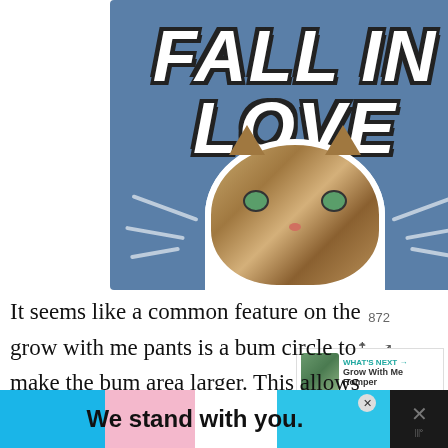[Figure (illustration): Advertisement banner with blue background showing bold italic white text 'FALL IN LOVE' with a cat photo in the center and decorative ray lines]
It seems like a common feature on the grow with me pants is a bum circle to make the bum area larger. This allows for more room for cloth diapers or babies with a bigger back si
[Figure (illustration): Bottom advertisement banner with trans pride flag colors background, bold text 'We stand with you.' with close button and side panel]